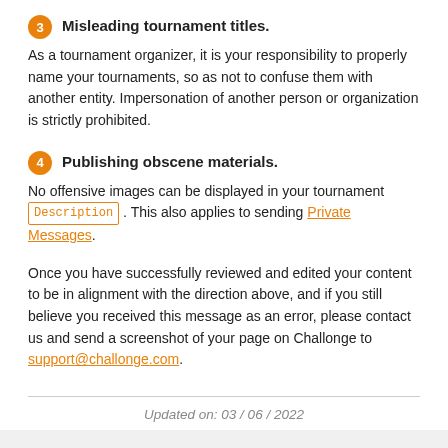3 Misleading tournament titles.
As a tournament organizer, it is your responsibility to properly name your tournaments, so as not to confuse them with another entity. Impersonation of another person or organization is strictly prohibited.
4 Publishing obscene materials.
No offensive images can be displayed in your tournament Description . This also applies to sending Private Messages.
Once you have successfully reviewed and edited your content to be in alignment with the direction above, and if you still believe you received this message as an error, please contact us and send a screenshot of your page on Challonge to support@challonge.com.
Updated on: 03 / 06 / 2022